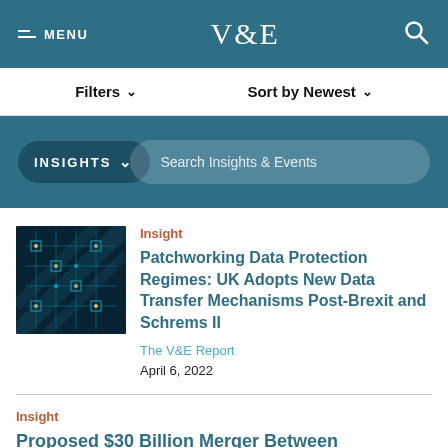MENU | V&E | Search
Filters ∨   Sort by Newest ∨
INSIGHTS ∨   Search Insights & Events
Insight
Patchworking Data Protection Regimes: UK Adopts New Data Transfer Mechanisms Post-Brexit and Schrems II
The V&E Report
April 6, 2022
Insight
Proposed $30 Billion Merger Between